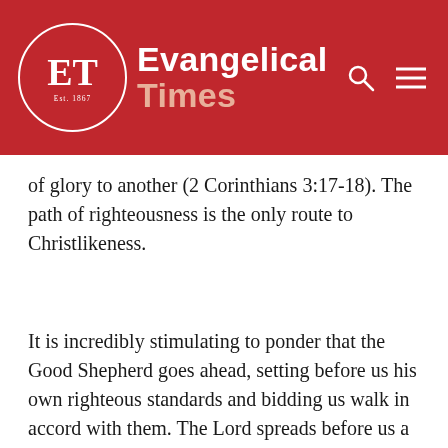Evangelical Times
of glory to another (2 Corinthians 3:17-18). The path of righteousness is the only route to Christlikeness.
It is incredibly stimulating to ponder that the Good Shepherd goes ahead, setting before us his own righteous standards and bidding us walk in accord with them. The Lord spreads before us a panoramic view of his righteous, holy and perfect will and prompts us to do that will, just as it is done in heaven. We are privileged to walk on earth a path paved with the righteousness of Christ.